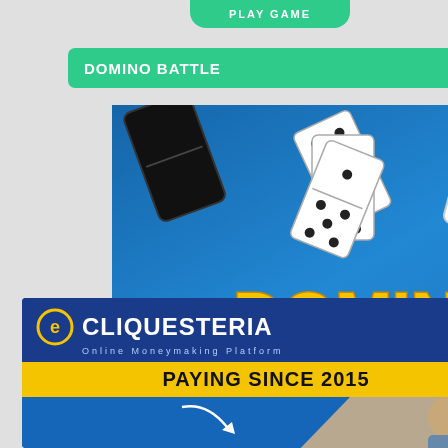[Figure (screenshot): Screenshot of a gaming/earning website showing DOMINO BATTLE game thumbnail and a Cliquesteria Online Moneymaking Platform advertisement overlay. Green navigation buttons labeled DOMINO BATTLE and partial JE... visible. The Cliquesteria ad shows logo, tagline 'Online Moneymaking Platform', yellow banner 'PAYING SINCE 2015', and a woman with laptop.]
PLAY GAME
DOMINO BATTLE
JE
DOMINO
Battle
CLIQUESTERIA
Online Moneymaking Platform
PAYING SINCE 2015
CA
AU